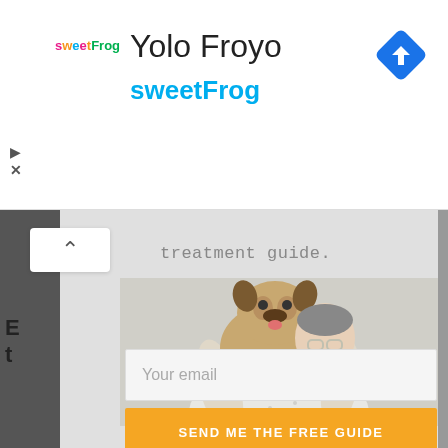[Figure (logo): sweetFrog logo with multicolor text]
Yolo Froyo
sweetFrog
[Figure (other): Blue diamond navigation/directions icon with white arrow]
[Figure (photo): Person with short hair and glasses holding a French Bulldog dog, white background]
treatment guide.
Your email
SEND ME THE FREE GUIDE